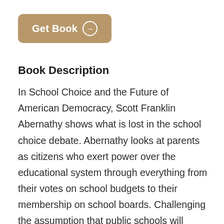[Figure (other): A rounded rectangular button with tan/khaki brown background color labeled 'Get Book' with a circled right-arrow icon in white text]
Book Description
In School Choice and the Future of American Democracy, Scott Franklin Abernathy shows what is lost in the school choice debate. Abernathy looks at parents as citizens who exert power over the educational system through everything from their votes on school budgets to their membership on school boards. Challenging the assumption that public schools will improve when confronted with market-based reforms, Abernathy examines the possibility that public schools will become more disconnected and isolated as civic life is privatized. Scott Abernathy